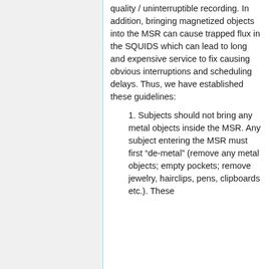quality / uninterruptible recording. In addition, bringing magnetized objects into the MSR can cause trapped flux in the SQUIDS which can lead to long and expensive service to fix causing obvious interruptions and scheduling delays. Thus, we have established these guidelines:
1. Subjects should not bring any metal objects inside the MSR. Any subject entering the MSR must first “de-metal” (remove any metal objects; empty pockets; remove jewelry, hairclips, pens, clipboards etc.). These